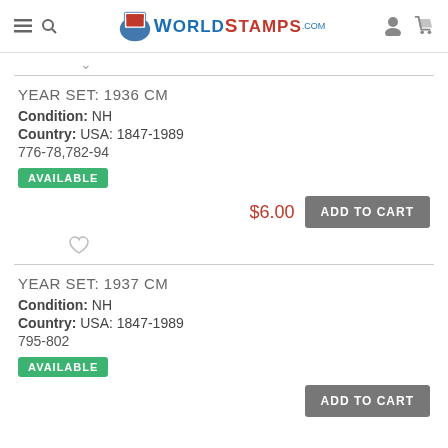WorldStamps.com
YEAR SET: 1936 CM
Condition: NH
Country: USA: 1847-1989
776-78,782-94
AVAILABLE
$6.00  ADD TO CART
YEAR SET: 1937 CM
Condition: NH
Country: USA: 1847-1989
795-802
AVAILABLE